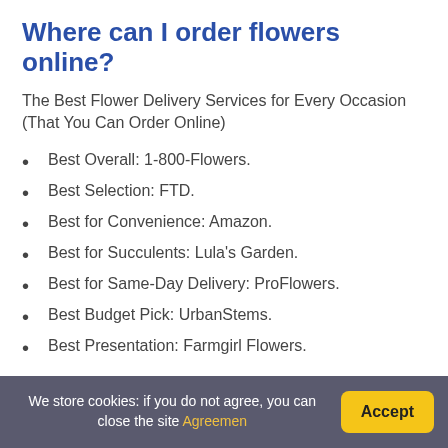Where can I order flowers online?
The Best Flower Delivery Services for Every Occasion (That You Can Order Online)
Best Overall: 1-800-Flowers.
Best Selection: FTD.
Best for Convenience: Amazon.
Best for Succulents: Lula's Garden.
Best for Same-Day Delivery: ProFlowers.
Best Budget Pick: UrbanStems.
Best Presentation: Farmgirl Flowers.
How Long Can plants survive in a box?
A plant can survive in the mail for 7 full days of shipping without any problems. Some plants can live up
We store cookies: if you do not agree, you can close the site Agreement